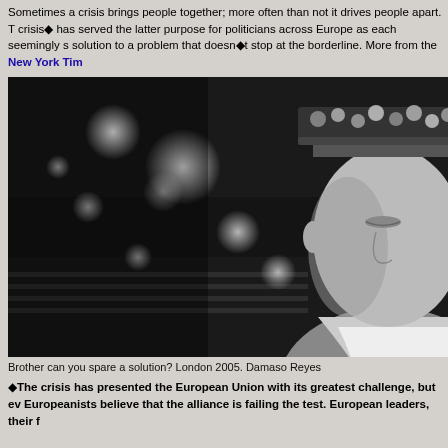Sometimes a crisis brings people together; more often than not it drives people apart. The crisis◆ has served the latter purpose for politicians across Europe as each seemingly s… solution to a problem that doesn◆t stop at the borderline. More from the New York Tim…
[Figure (photo): Black and white photograph of a man wearing a cap decorated with coins, looking downward with eyes closed, with blurred street lights in the background. London 2005, by Damaso Reyes.]
Brother can you spare a solution? London 2005. Damaso Reyes
◆The crisis has presented the European Union with its greatest challenge, but ev… Europeanists believe that the alliance is failing the test. European leaders, their f…